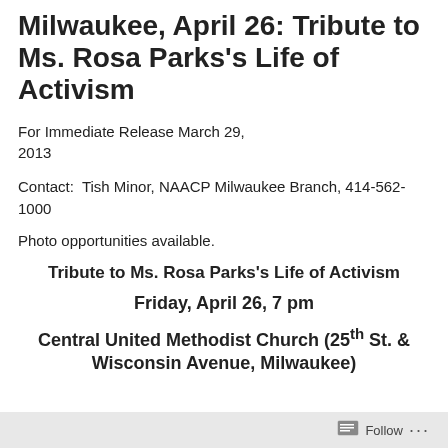Milwaukee, April 26: Tribute to Ms. Rosa Parks's Life of Activism
For Immediate Release March 29, 2013
Contact:  Tish Minor, NAACP Milwaukee Branch, 414-562-1000
Photo opportunities available.
Tribute to Ms. Rosa Parks's Life of Activism
Friday, April 26, 7 pm
Central United Methodist Church (25th St. & Wisconsin Avenue, Milwaukee)
Follow